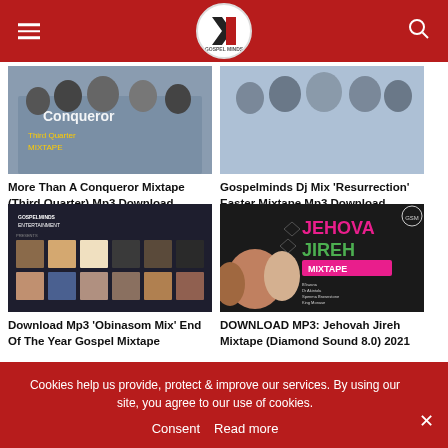GospelMinds
[Figure (photo): More Than A Conqueror Mixtape artwork - group of people, Third Quarter text visible]
More Than A Conqueror Mixtape (Third Quarter) Mp3 Download
[Figure (photo): Gospelminds DJ Mix Resurrection Easter Mixtape artwork - group of people]
Gospelminds Dj Mix 'Resurrection' Easter Mixtape Mp3 Download
[Figure (photo): Obinasom Mix End Of The Year Gospel Mixtape - grid of artist photos]
Download Mp3 'Obinasom Mix' End Of The Year Gospel Mixtape
[Figure (photo): Jehovah Jireh Mixtape Diamond Sound 8.0 2021 - pink/green text on dark background with artist photos]
DOWNLOAD MP3: Jehovah Jireh Mixtape (Diamond Sound 8.0) 2021
Cookies help us provide, protect & improve our services. By using our site, you agree to our use of cookies.
Consent  Read more